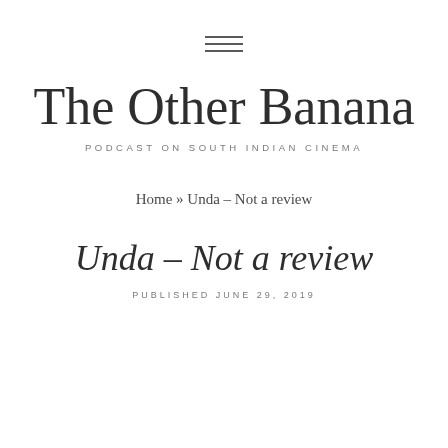☰
The Other Banana
PODCAST ON SOUTH INDIAN CINEMA
Home » Unda – Not a review
Unda – Not a review
PUBLISHED JUNE 29, 2019